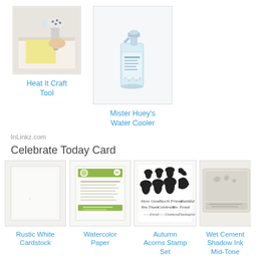[Figure (photo): Heat It Craft Tool product photo - a heat gun on white surface]
Heat It Craft Tool
[Figure (photo): Mister Huey's Water Cooler product photo - a spray bottle]
Mister Huey's Water Cooler
InLinkz.com
Celebrate Today Card
[Figure (photo): Rustic White Cardstock product - plain white cardstock]
Rustic White Cardstock
[Figure (photo): Watercolor Paper product photo]
Watercolor Paper
[Figure (photo): Autumn Acorns Stamp Set product photo showing various acorn and leaf stamps]
Autumn Acorns Stamp Set
[Figure (photo): Wet Cement Shadow Ink Mid-Tone product photo - ink pad]
Wet Cement Shadow Ink Mid-Tone